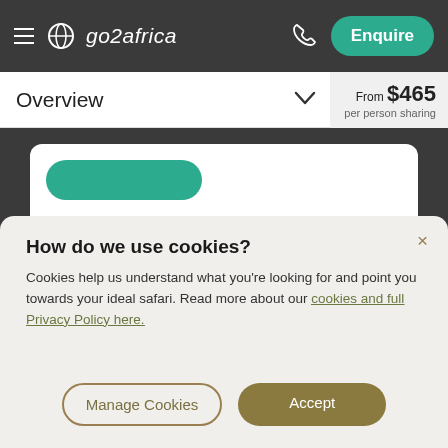go2africa — Enquire
Overview   From $465 per person sharing
[Figure (screenshot): Partial white card with teal pill/button visible on dark background]
How do we use cookies?
Cookies help us understand what you're looking for and point you towards your ideal safari. Read more about our cookies and full Privacy Policy here.
Manage Cookies   Accept